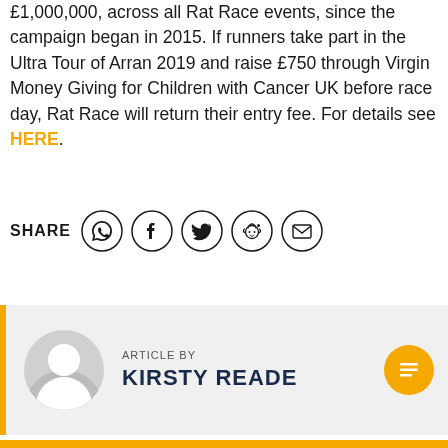£1,000,000, across all Rat Race events, since the campaign began in 2015. If runners take part in the Ultra Tour of Arran 2019 and raise £750 through Virgin Money Giving for Children with Cancer UK before race day, Rat Race will return their entry fee. For details see HERE.
SHARE [social icons: WhatsApp, Facebook, Twitter, Reddit, Email]
[Figure (other): Author bio box with yellow left bar, avatar placeholder, ARTICLE BY label and author name KIRSTY READE, and article icon]
[Figure (other): Albom Training Platform advertisement banner with app store badges]